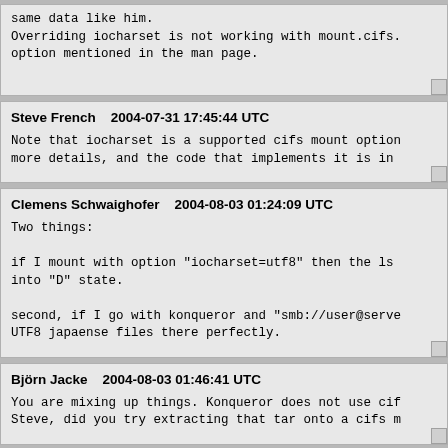same data like him.
Overriding iocharset is not working with mount.cifs.
option mentioned in the man page.
Steve French    2004-07-31 17:45:44 UTC

Note that iocharset is a supported cifs mount option
more details, and the code that implements it is in
Clemens Schwaighofer    2004-08-03 01:24:09 UTC

Two things:

if I mount with option "iocharset=utf8" then the ls
into "D" state.

second, if I go with konqueror and "smb://user@serve
UTF8 japaense files there perfectly.
Björn Jacke    2004-08-03 01:46:41 UTC

You are mixing up things. Konqueror does not use cif
Steve, did you try extracting that tar onto a cifs m
Clemens Schwaighofer    2004-08-03 06:54:52 UTC